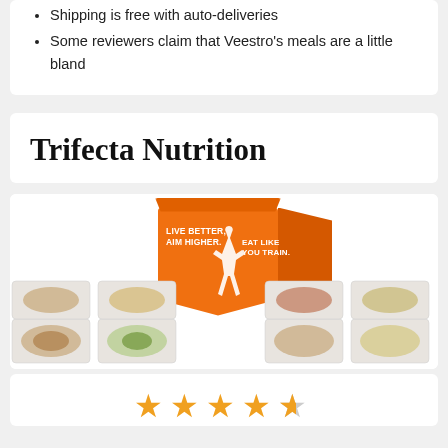Shipping is free with auto-deliveries
Some reviewers claim that Veestro's meals are a little bland
Trifecta Nutrition
[Figure (photo): Trifecta Nutrition orange meal prep box with text 'LIVE BETTER. AIM HIGHER.' and 'EAT LIKE YOU TRAIN.' surrounded by prepared meal containers]
[Figure (other): Star rating display showing approximately 4 out of 5 stars in orange/gold color]